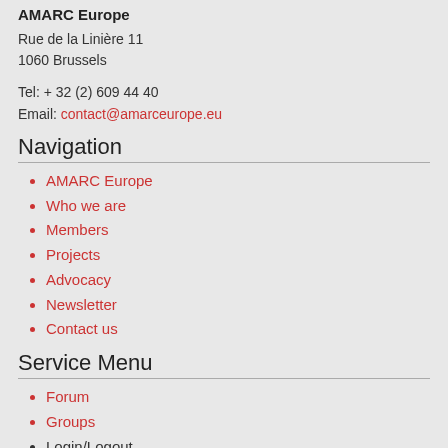AMARC Europe
Rue de la Linière 11
1060 Brussels
Tel: + 32 (2) 609 44 40
Email: contact@amarceurope.eu
Navigation
AMARC Europe
Who we are
Members
Projects
Advocacy
Newsletter
Contact us
Service Menu
Forum
Groups
Login/Logout